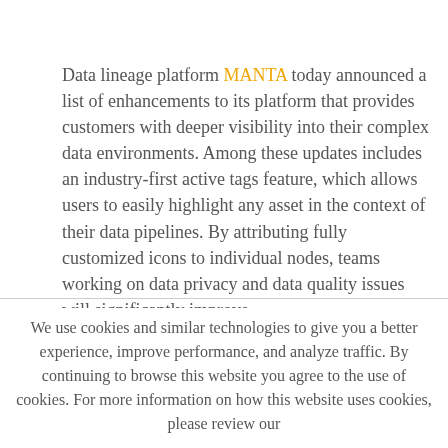Data lineage platform MANTA today announced a list of enhancements to its platform that provides customers with deeper visibility into their complex data environments. Among these updates includes an industry-first active tags feature, which allows users to easily highlight any asset in the context of their data pipelines. By attributing fully customized icons to individual nodes, teams working on data privacy and data quality issues will significantly improve
We use cookies and similar technologies to give you a better experience, improve performance, and analyze traffic. By continuing to browse this website you agree to the use of cookies. For more information on how this website uses cookies, please review our Privacy Policy.